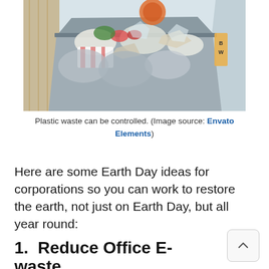[Figure (photo): Overflowing dumpster/skip container filled with mixed plastic waste, bags, paper, and miscellaneous trash. Grey metal container against a wood panel background.]
Plastic waste can be controlled. (Image source: Envato Elements)
Here are some Earth Day ideas for corporations so you can work to restore the earth, not just on Earth Day, but all year round:
1.  Reduce Office E-waste